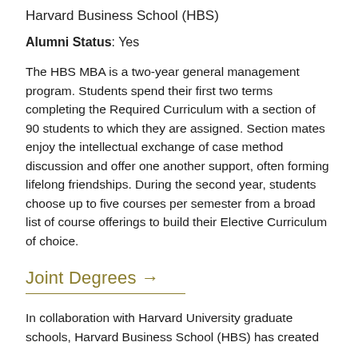Harvard Business School (HBS)
Alumni Status: Yes
The HBS MBA is a two-year general management program. Students spend their first two terms completing the Required Curriculum with a section of 90 students to which they are assigned. Section mates enjoy the intellectual exchange of case method discussion and offer one another support, often forming lifelong friendships. During the second year, students choose up to five courses per semester from a broad list of course offerings to build their Elective Curriculum of choice.
Joint Degrees →
In collaboration with Harvard University graduate schools, Harvard Business School (HBS) has created